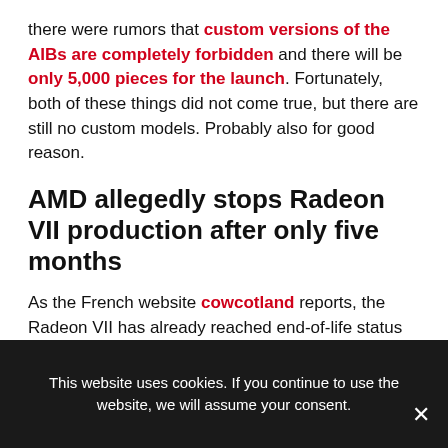there were rumors that custom versions of the AIBs are completely forbidden and there will be only 5,000 pieces for the launch. Fortunately, both of these things did not come true, but there are still no custom models. Probably also for good reason.
AMD allegedly stops Radeon VII production after only five months
As the French website cowcotland reports, the Radeon VII has already reached end-of-life status after only five months. According to the report, production will be discontinued and only residual stock will be sold. The reason is the recently released Radeon Navi graphics
This website uses cookies. If you continue to use the website, we will assume your consent.